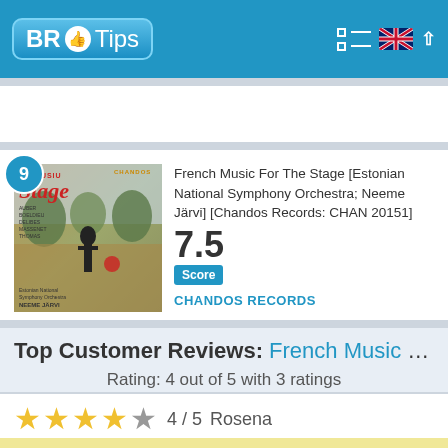BR Tips
[Figure (screenshot): Album cover for French Music For The Stage - Chandos Records, with number badge 9]
French Music For The Stage [Estonian National Symphony Orchestra; Neeme Järvi] [Chandos Records: CHAN 20151]
7.5 Score
CHANDOS RECORDS
Top Customer Reviews: French Music For ...
Rating: 4 out of 5 with 3 ratings
4 / 5  Rosena